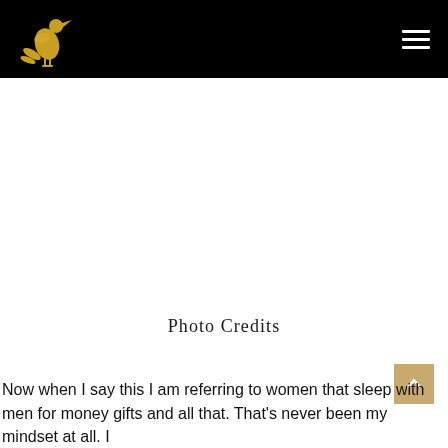[Logo: golden bird figure] [Hamburger menu icon]
Photo Credits
Now when I say this I am referring to women that sleep with men for money gifts and all that. That’s never been my mindset at all. I